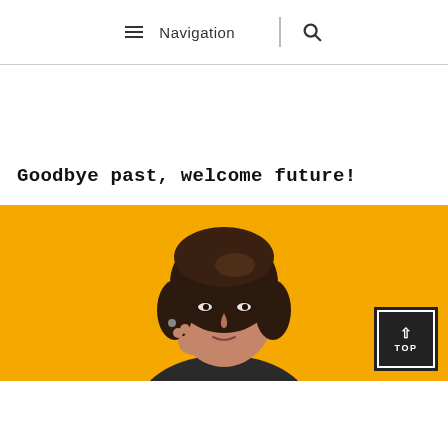≡ Navigation | 🔍
Goodbye past, welcome future!
[Figure (photo): A woman with short dark hair posing thoughtfully with hand near face, set against a bright yellow/amber background. A 'TOP' back-to-top button is overlaid in the bottom-right corner.]